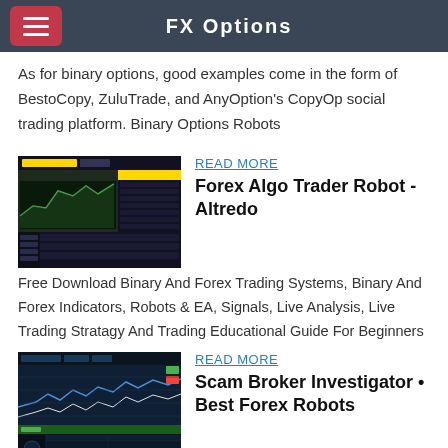FX Options
As for binary options, good examples come in the form of BestoCopy, ZuluTrade, and AnyOption's CopyOp social trading platform. Binary Options Robots
READ MORE
[Figure (screenshot): Screenshot of a trading platform interface showing charts and data tables with dark and green themed UI]
Forex Algo Trader Robot - Altredo
Free Download Binary And Forex Trading Systems, Binary And Forex Indicators, Robots & EA, Signals, Live Analysis, Live Trading Stratagy And Trading Educational Guide For Beginners
READ MORE
[Figure (screenshot): Screenshot of a trading platform with blue/dark theme showing financial charts and data tables]
Scam Broker Investigator • Best Forex Robots
Welcome to the Binary Robot Indicator online. I love to practice,